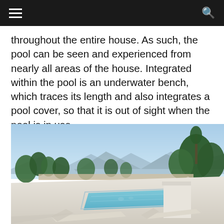≡  🔍
throughout the entire house. As such, the pool can be seen and experienced from nearly all areas of the house. Integrated within the pool is an underwater bench, which traces its length and also integrates a pool cover, so that it is out of sight when the pool is in use.
[Figure (photo): Aerial/elevated view of a modern white minimalist house rooftop with a rectangular swimming pool, sun loungers, surrounded by green trees and mountains in the background under a clear blue sky.]